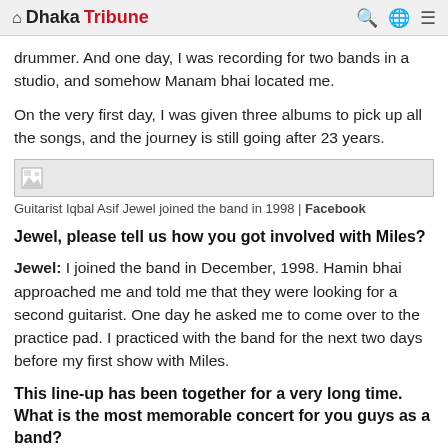Dhaka Tribune
drummer. And one day, I was recording for two bands in a studio, and somehow Manam bhai located me.
On the very first day, I was given three albums to pick up all the songs, and the journey is still going after 23 years.
[Figure (photo): Image placeholder for Guitarist Iqbal Asif Jewel]
Guitarist Iqbal Asif Jewel joined the band in 1998 | Facebook
Jewel, please tell us how you got involved with Miles?
Jewel: I joined the band in December, 1998. Hamin bhai approached me and told me that they were looking for a second guitarist. One day he asked me to come over to the practice pad. I practiced with the band for the next two days before my first show with Miles.
This line-up has been together for a very long time. What is the most memorable concert for you guys as a band?